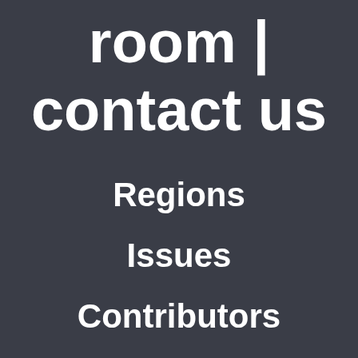room | contact us
Regions
Issues
Contributors
Support